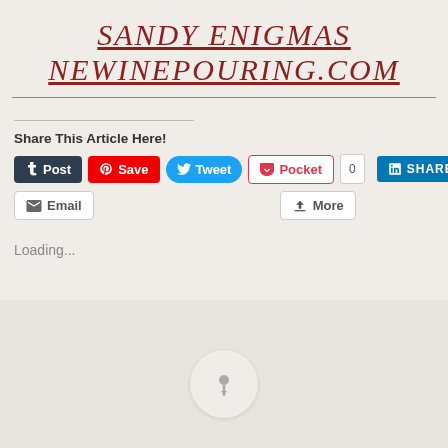SANDY ENIGMAS
NEWINEPOURING.COM
Share This Article Here!
[Figure (screenshot): Social sharing buttons: Post (Tumblr), Save (Pinterest), Tweet (Twitter), Pocket with count 0, LinkedIn SHARE, Email, More]
Loading...
[Figure (illustration): Pin/thumbtack icon in a light circular button on a gray background bar at the bottom of the page]